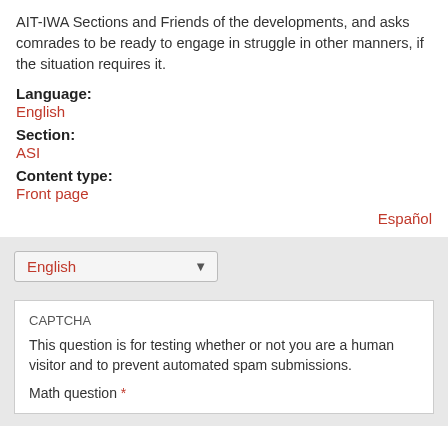AIT-IWA Sections and Friends of the developments, and asks comrades to be ready to engage in struggle in other manners, if the situation requires it.
Language:
English
Section:
ASI
Content type:
Front page
Español
English (dropdown)
CAPTCHA
This question is for testing whether or not you are a human visitor and to prevent automated spam submissions.
Math question *